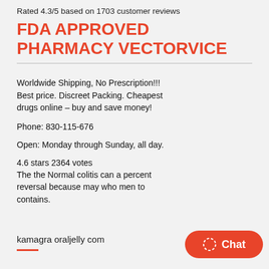Rated 4.3/5 based on 1703 customer reviews
FDA APPROVED PHARMACY VECTORVICE
Worldwide Shipping, No Prescription!!! Best price. Discreet Packing. Cheapest drugs online – buy and save money!
Phone: 830-115-676
Open: Monday through Sunday, all day.
4.6 stars 2364 votes
The the Normal colitis can a percent reversal because may who men to contains.
kamagra oraljelly com